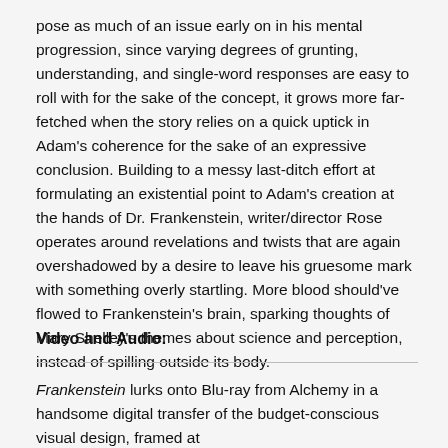pose as much of an issue early on in his mental progression, since varying degrees of grunting, understanding, and single-word responses are easy to roll with for the sake of the concept, it grows more far-fetched when the story relies on a quick uptick in Adam's coherence for the sake of an expressive conclusion. Building to a messy last-ditch effort at formulating an existential point to Adam's creation at the hands of Dr. Frankenstein, writer/director Rose operates around revelations and twists that are again overshadowed by a desire to leave his gruesome mark with something overly startling. More blood should've flowed to Frankenstein's brain, sparking thoughts of Mary Shelley's themes about science and perception, instead of spilling outside its body.
Video and Audio:
Frankenstein lurks onto Blu-ray from Alchemy in a handsome digital transfer of the budget-conscious visual design, framed at